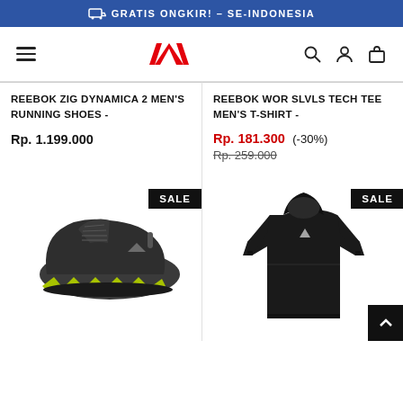GRATIS ONGKIR! – SE-INDONESIA
[Figure (logo): Reebok logo (red delta mark) with hamburger menu, search, account, and bag icons in navigation bar]
REEBOK ZIG DYNAMICA 2 MEN'S RUNNING SHOES -
Rp. 1.199.000
REEBOK WOR SLVLS TECH TEE MEN'S T-SHIRT -
Rp. 181.300 (-30%) Rp. 259.000
[Figure (photo): Dark gray/black Reebok Zig Dynamica 2 running shoe with yellow-green sole, viewed from the side, on white background. SALE badge visible.]
[Figure (photo): Black Reebok long sleeve hoodie/tech tee for men, displayed on white background. SALE badge visible. Back-to-top arrow button in bottom right corner.]